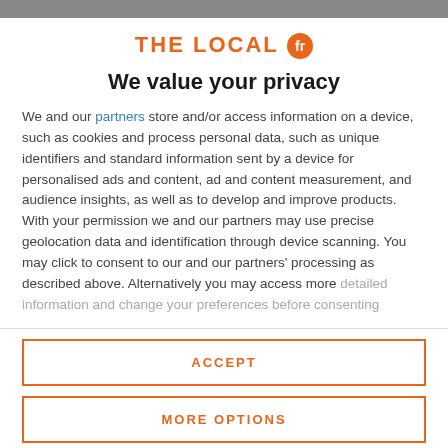THE LOCAL fr
We value your privacy
We and our partners store and/or access information on a device, such as cookies and process personal data, such as unique identifiers and standard information sent by a device for personalised ads and content, ad and content measurement, and audience insights, as well as to develop and improve products. With your permission we and our partners may use precise geolocation data and identification through device scanning. You may click to consent to our and our partners' processing as described above. Alternatively you may access more detailed information and change your preferences before consenting
ACCEPT
MORE OPTIONS
Macron quits government